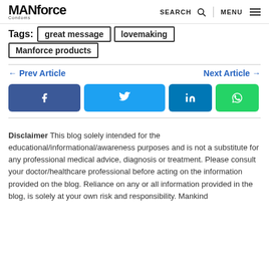MANforce | SEARCH | MENU
Tags: great message | lovemaking | Manforce products
← Prev Article    Next Article →
[Figure (infographic): Social share buttons: Facebook, Twitter, LinkedIn, WhatsApp]
Disclaimer This blog solely intended for the educational/informational/awareness purposes and is not a substitute for any professional medical advice, diagnosis or treatment. Please consult your doctor/healthcare professional before acting on the information provided on the blog. Reliance on any or all information provided in the blog, is solely at your own risk and responsibility. Mankind